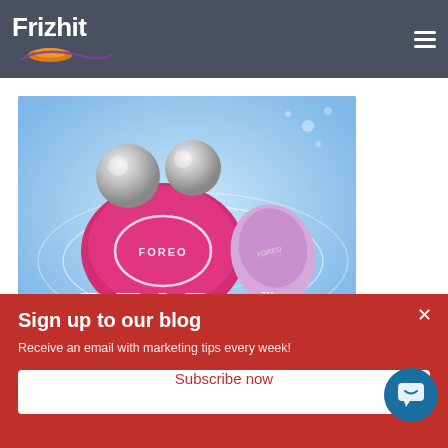Frizhit
…you decide with a message related to the b… …lly.
[Figure (photo): FOREO BEAR microcurrent facial device in pink/fuchsia color with two silver metal balls on top, and a smaller lavender/purple FOREO device beside it, on a light blue background with white swirl lines. Text 'BEAR™' in large white letters at the bottom.]
❤️We have selected this for you
Sign up to our blog
Receive an email with marketing tips every week!
Subscribe now